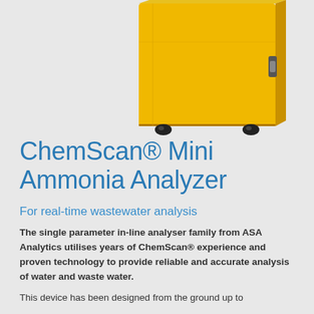[Figure (photo): Yellow ChemScan Mini Ammonia Analyzer device, a boxy yellow enclosure on wheels with a latch/handle on the right side, shown from a slightly elevated angle against a light gray background. Only the upper portion of the device is visible.]
ChemScan® Mini Ammonia Analyzer
For real-time wastewater analysis
The single parameter in-line analyser family from ASA Analytics utilises years of ChemScan® experience and proven technology to provide reliable and accurate analysis of water and waste water.
This device has been designed from the ground up to